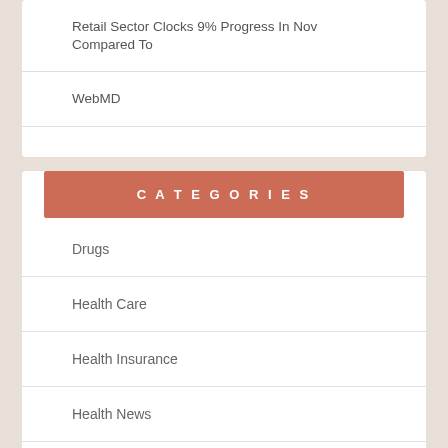Retail Sector Clocks 9% Progress In Nov Compared To
WebMD
CATEGORIES
Drugs
Health Care
Health Insurance
Health News
Healthy Food